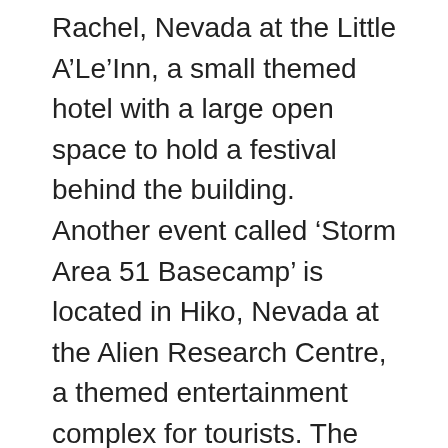Rachel, Nevada at the Little A'Le'Inn, a small themed hotel with a large open space to hold a festival behind the building. Another event called ‘Storm Area 51 Basecamp’ is located in Hiko, Nevada at the Alien Research Centre, a themed entertainment complex for tourists. The two events are just 40 miles away from one other, and each offer the same types of activities, with slightly different themes.
Emily Wofford, a spokesperson for the